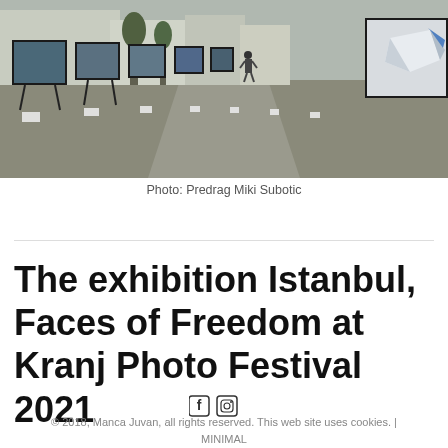[Figure (photo): Outdoor photography exhibition on a cobblestone street with large framed photos displayed on stands, a person walking in the background, and a white geometric art piece visible on the right.]
Photo: Predrag Miki Subotic
The exhibition Istanbul, Faces of Freedom at Kranj Photo Festival 2021
© 2018, Manca Juvan, all rights reserved. This web site uses cookies. | MINIMAL